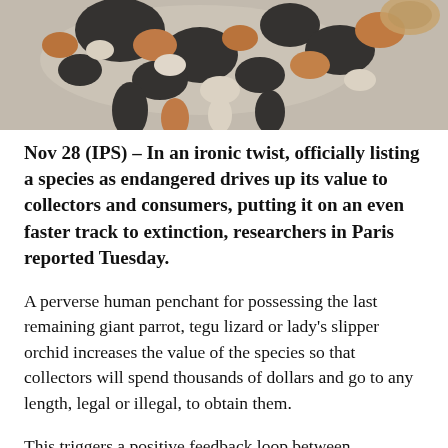[Figure (photo): Close-up photograph of a gecko or lizard with black, white, and orange/brown patterned skin, partially cropped at the top of the page]
Nov 28 (IPS) – In an ironic twist, officially listing a species as endangered drives up its value to collectors and consumers, putting it on an even faster track to extinction, researchers in Paris reported Tuesday.
A perverse human penchant for possessing the last remaining giant parrot, tegu lizard or lady's slipper orchid increases the value of the species so that collectors will spend thousands of dollars and go to any length, legal or illegal, to obtain them.
This triggers a positive feedback loop between